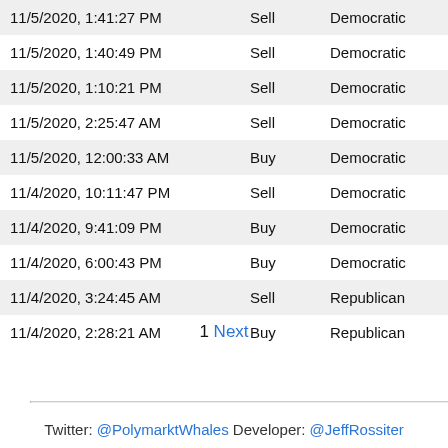| Date/Time | Type | Party |  | Amount |
| --- | --- | --- | --- | --- |
| 11/5/2020, 1:41:27 PM | Sell | Democratic | □ | $9… |
| 11/5/2020, 1:40:49 PM | Sell | Democratic | □ | $99… |
| 11/5/2020, 1:10:21 PM | Sell | Democratic | □ | $24… |
| 11/5/2020, 2:25:47 AM | Sell | Democratic | □ | $79… |
| 11/5/2020, 12:00:33 AM | Buy | Democratic | □ | $60… |
| 11/4/2020, 10:11:47 PM | Sell | Democratic | □ | $37… |
| 11/4/2020, 9:41:09 PM | Buy | Democratic | □ | $90… |
| 11/4/2020, 6:00:43 PM | Buy | Democratic | □ | $50… |
| 11/4/2020, 3:24:45 AM | Sell | Republican | □ | $30… |
| 11/4/2020, 2:28:21 AM | Buy | Republican | □ | $20… |
1 Next
Twitter: @PolymarktWhales Developer: @JeffRossiter